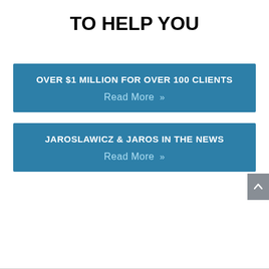TO HELP YOU
OVER $1 MILLION FOR OVER 100 CLIENTS
Read More »
JAROSLAWICZ & JAROS IN THE NEWS
Read More »